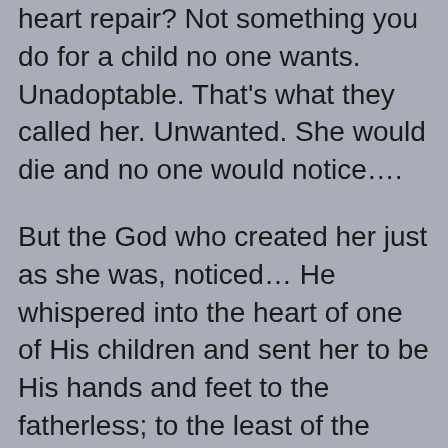heart repair?  Not something you do for a child no one wants.  Unadoptable.  That's what they called her.  Unwanted.  She would die and no one would notice….
But the God who created her just as she was, noticed…  He whispered into the heart of one of His children and sent her to be His hands and feet to the fatherless; to the least of the least; the unwanted and the unadoptable.  Melinda arrived at the orphanage and was presented 2 children from among the “normal” population of orphans to consider for fostering… They were surrounded by toys and bright colors, and their sparkling smiles warmed Melinda’s heart…. She could do this!!!  There was one